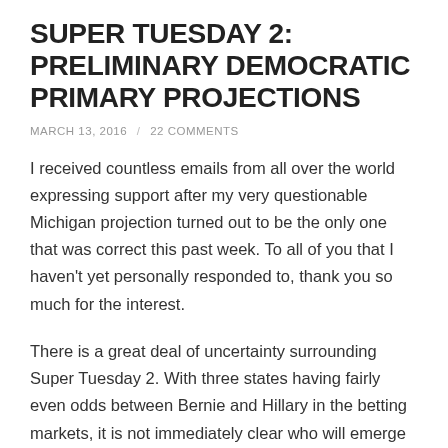SUPER TUESDAY 2: PRELIMINARY DEMOCRATIC PRIMARY PROJECTIONS
MARCH 13, 2016 / 22 COMMENTS
I received countless emails from all over the world expressing support after my very questionable Michigan projection turned out to be the only one that was correct this past week. To all of you that I haven't yet personally responded to, thank you so much for the interest.
There is a great deal of uncertainty surrounding Super Tuesday 2. With three states having fairly even odds between Bernie and Hillary in the betting markets, it is not immediately clear who will emerge victorious in Illinois, Missouri, and Ohio. Today I am posting this to